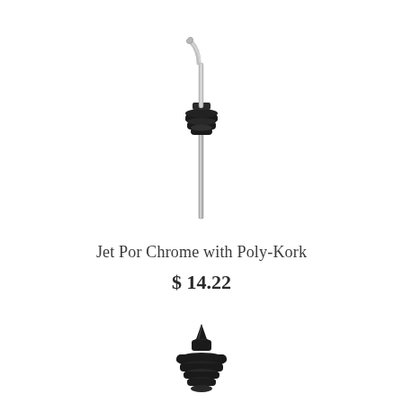[Figure (photo): A chrome bottle pourer with a bent metal spout and black poly-kork stopper with ridged rubber fins and a long metal stem]
Jet Por Chrome with Poly-Kork
$ 14.22
[Figure (photo): A black plastic bottle pourer/stopper with a pointed spout tip and ridged rubber fins at the base, viewed from the top]